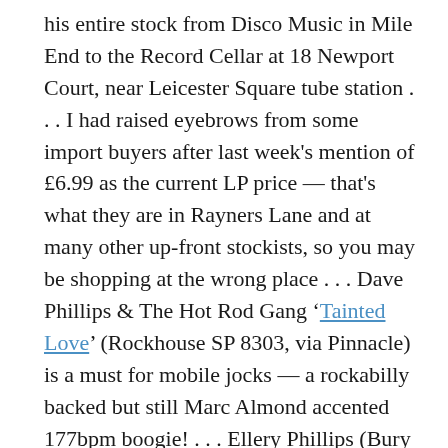his entire stock from Disco Music in Mile End to the Record Cellar at 18 Newport Court, near Leicester Square tube station . . . I had raised eyebrows from some import buyers after last week's mention of £6.99 as the current LP price — that's what they are in Rayners Lane and at many other up-front stockists, so you may be shopping at the wrong place . . . Dave Phillips & The Hot Rod Gang 'Tainted Love' (Rockhouse SP 8303, via Pinnacle) is a must for mobile jocks — a rockabilly backed but still Marc Almond accented 177bpm boogie! . . . Ellery Phillips (Bury St Edmunds) is desperate for the Canadian mixer (mentioned last summer by someone from the South of France) which "expertly dovetails Beatles rockers with